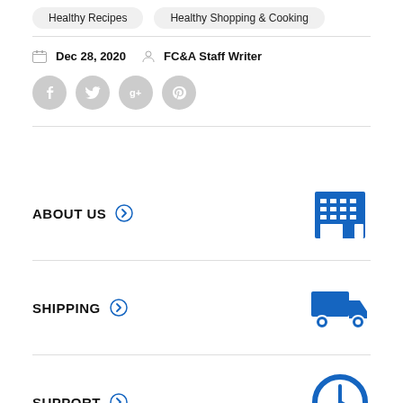Healthy Recipes
Healthy Shopping & Cooking
Dec 28, 2020  FC&A Staff Writer
[Figure (other): Social media share icons: Facebook, Twitter, Google+, Pinterest — grey circles]
ABOUT US
[Figure (other): Blue building/office icon]
SHIPPING
[Figure (other): Blue delivery truck icon]
SUPPORT
[Figure (other): Blue clock/time icon]